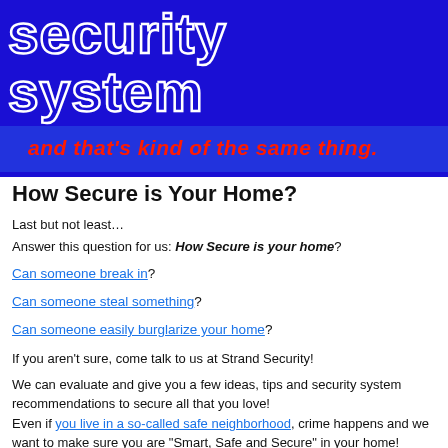[Figure (other): Dark blue banner with large white-outlined text 'security system' and red italic tagline 'and that’s kind of the same thing.' on a royal blue background]
How Secure is Your Home?
Last but not least…
Answer this question for us: How Secure is your home?
Can someone break in?
Can someone steal something?
Can someone easily burglarize your home?
If you aren't sure, come talk to us at Strand Security!
We can evaluate and give you a few ideas, tips and security system recommendations to secure all that you love!
Even if you live in a so-called safe neighborhood, crime happens and we want to make sure you are “Smart, Safe and Secure” in your home!